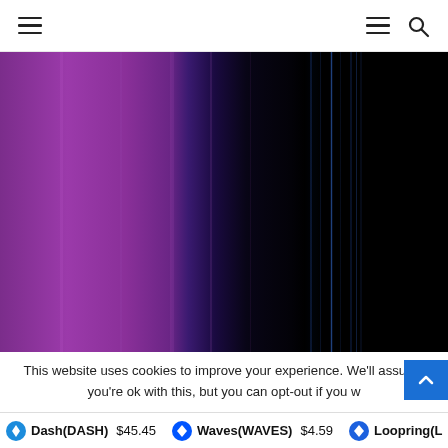Navigation bar with hamburger menu left, hamburger menu and search icon right
[Figure (photo): Abstract vertical color bands transitioning from purple/violet on the left through deep blue-purple to near-black with faint blue vertical lines on the right]
This website uses cookies to improve your experience. We'll assume you're ok with this, but you can opt-out if you w
Dash(DASH) $45.45  Waves(WAVES) $4.59  Loopring(L